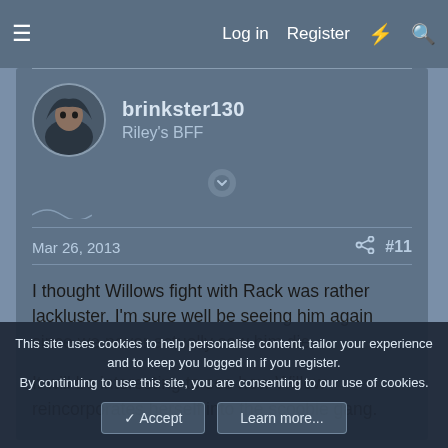Log in  Register
brinkster130
Riley's BFF
Mar 26, 2013  #11
I thought Willows fight with Rack was rather lackluster. I'm sure well be seeing him again since we never actually saw him die.

It will be interesting to see how Willow reincorporates herself into the scoobie gang.
This site uses cookies to help personalise content, tailor your experience and to keep you logged in if you register.
By continuing to use this site, you are consenting to our use of cookies.
✓ Accept    Learn more...